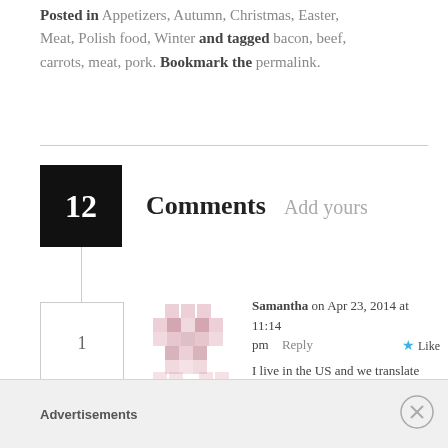Posted in Appetizers, Autumn, Christmas, Easter, Meat, Polish food, Winter and tagged bacon, beef, carrots, meat, pork. Bookmark the permalink.
12 Comments Add yours
1
Samantha on Apr 23, 2014 at 11:14 pm   Reply   Like
I live in the US and we translate pasztet to pate, as well. That's how we translate pasztet to non-Polish speaking friends.
Advertisements